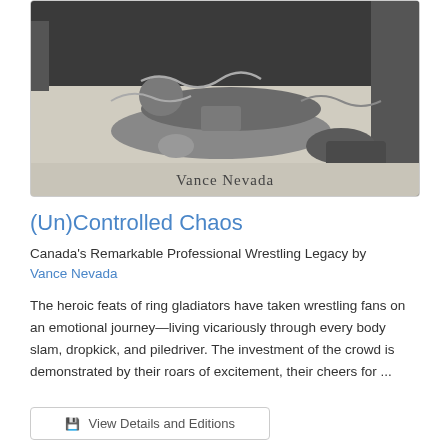[Figure (photo): Black and white photograph of two professional wrestlers on the mat, one appearing to have the other in a hold. Chains are visible. Text 'Vance Nevada' is printed at the bottom of the photo.]
(Un)Controlled Chaos
Canada's Remarkable Professional Wrestling Legacy by Vance Nevada
The heroic feats of ring gladiators have taken wrestling fans on an emotional journey—living vicariously through every body slam, dropkick, and piledriver. The investment of the crowd is demonstrated by their roars of excitement, their cheers for ...
View Details and Editions